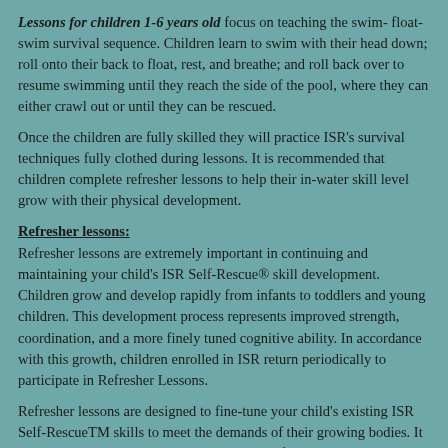Lessons for children 1-6 years old focus on teaching the swim- float-swim survival sequence. Children learn to swim with their head down; roll onto their back to float, rest, and breathe; and roll back over to resume swimming until they reach the side of the pool, where they can either crawl out or until they can be rescued.
Once the children are fully skilled they will practice ISR's survival techniques fully clothed during lessons. It is recommended that children complete refresher lessons to help their in-water skill level grow with their physical development.
Refresher lessons:
Refresher lessons are extremely important in continuing and maintaining your child's ISR Self-Rescue® skill development. Children grow and develop rapidly from infants to toddlers and young children. This development process represents improved strength, coordination, and a more finely tuned cognitive ability. In accordance with this growth, children enrolled in ISR return periodically to participate in Refresher Lessons.
Refresher lessons are designed to fine-tune your child's existing ISR Self-RescueTM skills to meet the demands of their growing bodies. It will allow them to make adjustments in their float and strengthen their swim.
Previous Swim-Float-Swim students will take approximately 2 weeks to complete.
Previous Rollback-to-Float students, refresher lessons will likely take approximately 3-4 weeks.